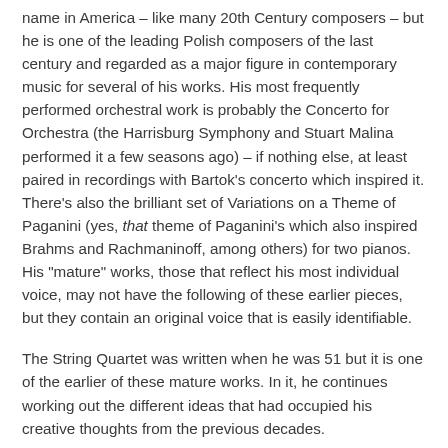name in America – like many 20th Century composers – but he is one of the leading Polish composers of the last century and regarded as a major figure in contemporary music for several of his works. His most frequently performed orchestral work is probably the Concerto for Orchestra (the Harrisburg Symphony and Stuart Malina performed it a few seasons ago) – if nothing else, at least paired in recordings with Bartok's concerto which inspired it. There's also the brilliant set of Variations on a Theme of Paganini (yes, that theme of Paganini's which also inspired Brahms and Rachmaninoff, among others) for two pianos. His "mature" works, those that reflect his most individual voice, may not have the following of these earlier pieces, but they contain an original voice that is easily identifiable.
The String Quartet was written when he was 51 but it is one of the earlier of these mature works. In it, he continues working out the different ideas that had occupied his creative thoughts from the previous decades.
Lutoslawski's biography is very much involved with the history of his native Poland. When he was born in 1913 –